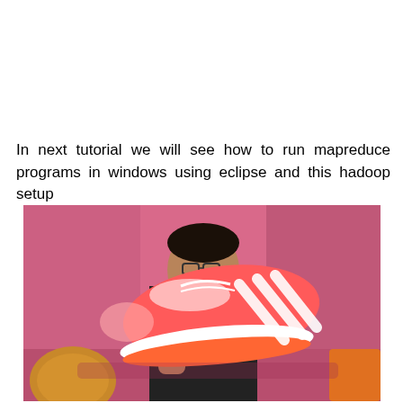In next tutorial we will see how to run mapreduce programs in windows using eclipse and this hadoop setup
[Figure (photo): A person wearing glasses holding up a large red and white Adidas sneaker in front of a pink background. Yarn visible at left.]